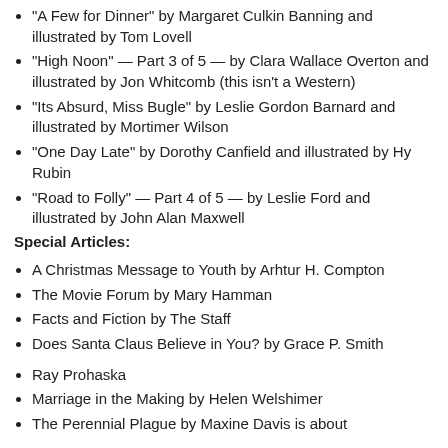“A Few for Dinner” by Margaret Culkin Banning and illustrated by Tom Lovell
“High Noon” — Part 3 of 5 — by Clara Wallace Overton and illustrated by Jon Whitcomb (this isn’t a Western)
“Its Absurd, Miss Bugle” by Leslie Gordon Barnard and illustrated by Mortimer Wilson
“One Day Late” by Dorothy Canfield and illustrated by Hy Rubin
“Road to Folly” — Part 4 of 5 — by Leslie Ford and illustrated by John Alan Maxwell
Special Articles:
A Christmas Message to Youth by Arhtur H. Compton
The Movie Forum by Mary Hamman
Facts and Fiction by The Staff
Does Santa Claus Believe in You? by Grace P. Smith
Ray Prohaska
Marriage in the Making by Helen Welshimer
The Perennial Plague by Maxine Davis is about